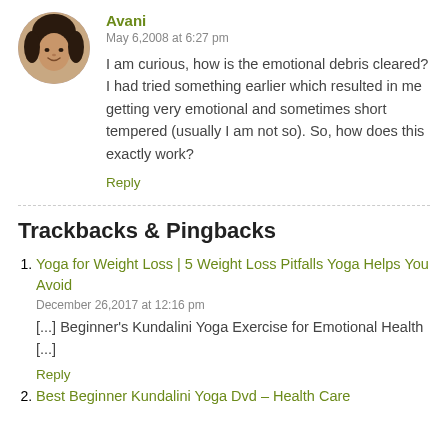[Figure (photo): Circular avatar photo of a woman named Avani]
Avani
May 6,2008 at 6:27 pm
I am curious, how is the emotional debris cleared? I had tried something earlier which resulted in me getting very emotional and sometimes short tempered (usually I am not so). So, how does this exactly work?
Reply
Trackbacks & Pingbacks
Yoga for Weight Loss | 5 Weight Loss Pitfalls Yoga Helps You Avoid
December 26,2017 at 12:16 pm
[...] Beginner's Kundalini Yoga Exercise for Emotional Health [...]
Reply
Best Beginner Kundalini Yoga Dvd – Health Care